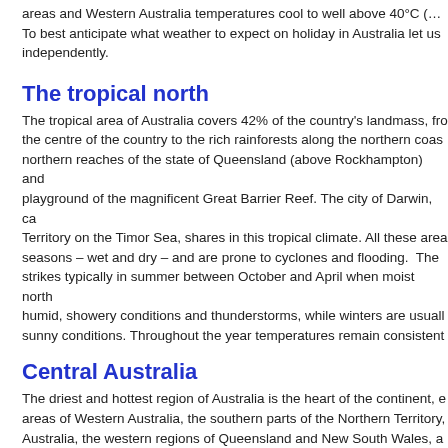areas and Western Australia temperatures cool to well above 40°C (... To best anticipate what weather to expect on holiday in Australia let us ... independently.
The tropical north
The tropical area of Australia covers 42% of the country's landmass, from the centre of the country to the rich rainforests along the northern coast, northern reaches of the state of Queensland (above Rockhampton) and playground of the magnificent Great Barrier Reef. The city of Darwin, c... Territory on the Timor Sea, shares in this tropical climate. All these area... seasons – wet and dry – and are prone to cyclones and flooding. The ... strikes typically in summer between October and April when moist north... humid, showery conditions and thunderstorms, while winters are usually... sunny conditions. Throughout the year temperatures remain consistent...
Central Australia
The driest and hottest region of Australia is the heart of the continent, e... areas of Western Australia, the southern parts of the Northern Territory,... Australia, the western regions of Queensland and New South Wales, a...